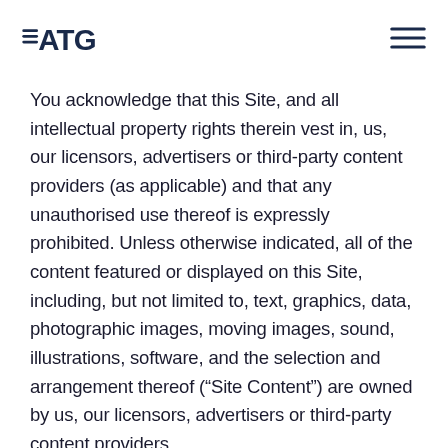ATG logo and navigation menu
You acknowledge that this Site, and all intellectual property rights therein vest in, us, our licensors, advertisers or third-party content providers (as applicable) and that any unauthorised use thereof is expressly prohibited. Unless otherwise indicated, all of the content featured or displayed on this Site, including, but not limited to, text, graphics, data, photographic images, moving images, sound, illustrations, software, and the selection and arrangement thereof (“Site Content”) are owned by us, our licensors, advertisers or third-party content providers